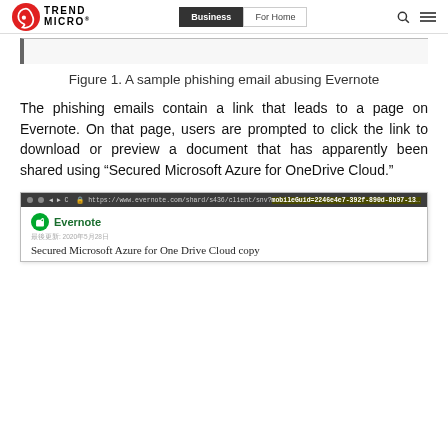Trend Micro | Business | For Home
[Figure (screenshot): Partial screenshot of a phishing email abusing Evernote — only the bottom edge is visible, showing a bordered frame on a light background.]
Figure 1. A sample phishing email abusing Evernote
The phishing emails contain a link that leads to a page on Evernote. On that page, users are prompted to click the link to download or preview a document that has apparently been shared using “Secured Microsoft Azure for OneDrive Cloud.”
[Figure (screenshot): Browser screenshot showing an Evernote page with the title “Secured Microsoft Azure for One Drive Cloud copy”. The browser address bar shows a long Evernote share URL. The Evernote logo and name appear in the top left, with a Chinese-language metadata line and the document title below.]